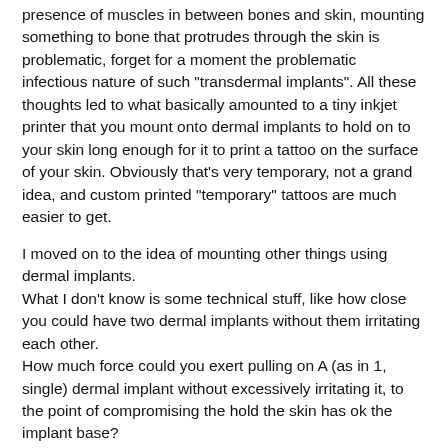presence of muscles in between bones and skin, mounting something to bone that protrudes through the skin is problematic, forget for a moment the problematic infectious nature of such "transdermal implants". All these thoughts led to what basically amounted to a tiny inkjet printer that you mount onto dermal implants to hold on to your skin long enough for it to print a tattoo on the surface of your skin. Obviously that's very temporary, not a grand idea, and custom printed "temporary" tattoos are much easier to get.
I moved on to the idea of mounting other things using dermal implants.
What I don't know is some technical stuff, like how close you could have two dermal implants without them irritating each other.
How much force could you exert pulling on A (as in 1, single) dermal implant without excessively irritating it, to the point of compromising the hold the skin has ok the implant base?
Any thoughts anyone has on this? I don't wear a watch. This is cool: https://www.indiegogo.com/projects/portal-by-arubixs-flexible-wearable-smartphone#/ I wouldn't wear that. I have this thing about stuff pressed against my skin.